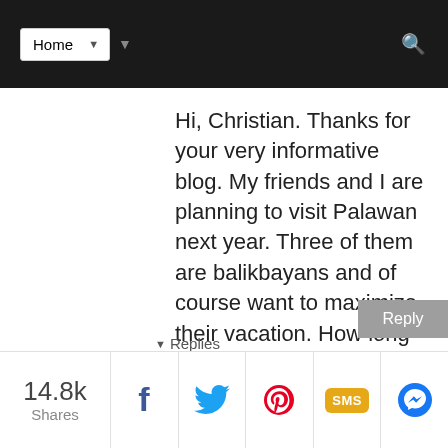Home
Hi, Christian. Thanks for your very informative blog. My friends and I are planning to visit Palawan next year. Three of them are balikbayans and of course want to maximize their vacation. How long do you suggest we stay in each place - Coron, El Nido and Puerto Princesa?
Thanks,
Allesi
▾ Replies
14.8k Shares